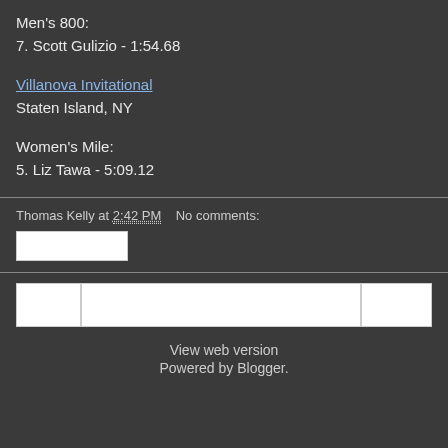Men's 800:
7. Scott Gulizio - 1:54.68
Villanova Invitational
Staten Island, NY
Women's Mile:
5. Liz Tawa - 5:09.12
Thomas Kelly at 2:42 PM   No comments:
View web version
Powered by Blogger.